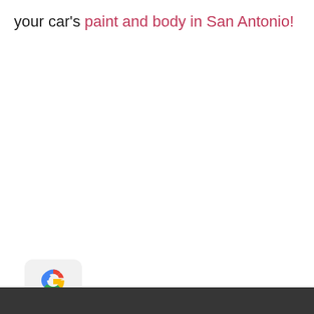your car's paint and body in San Antonio!
[Figure (logo): Google 'G' logo icon in a rounded rectangle, positioned at bottom left]